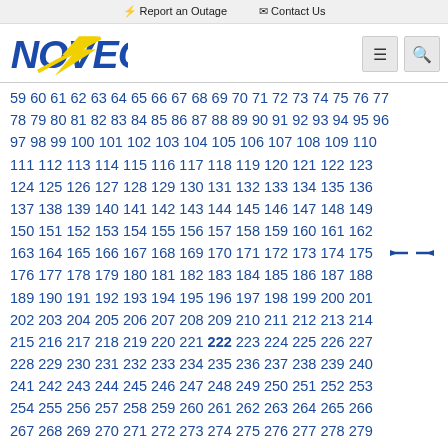⚡ Report an Outage   ✉ Contact Us
[Figure (logo): NOVEC logo — blue stylized text with yellow lightning bolt]
59 60 61 62 63 64 65 66 67 68 69 70 71 72 73 74 75 76 77 78 79 80 81 82 83 84 85 86 87 88 89 90 91 92 93 94 95 96 97 98 99 100 101 102 103 104 105 106 107 108 109 110 111 112 113 114 115 116 117 118 119 120 121 122 123 124 125 126 127 128 129 130 131 132 133 134 135 136 137 138 139 140 141 142 143 144 145 146 147 148 149 150 151 152 153 154 155 156 157 158 159 160 161 162 163 164 165 166 167 168 169 170 171 172 173 174 175 176 177 178 179 180 181 182 183 184 185 186 187 188 189 190 191 192 193 194 195 196 197 198 199 200 201 202 203 204 205 206 207 208 209 210 211 212 213 214 215 216 217 218 219 220 221 222 223 224 225 226 227 228 229 230 231 232 233 234 235 236 237 238 239 240 241 242 243 244 245 246 247 248 249 250 251 252 253 254 255 256 257 258 259 260 261 262 263 264 265 266 267 268 269 270 271 272 273 274 275 276 277 278 279 280 281 282 283 284 285 286 287 288 289 290 291 292